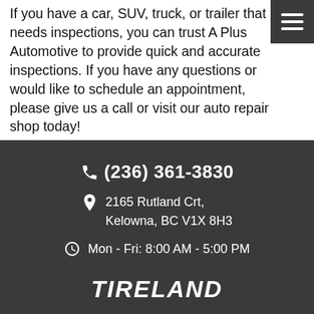If you have a car, SUV, truck, or trailer that needs inspections, you can trust A Plus Automotive to provide quick and accurate inspections. If you have any questions or would like to schedule an appointment, please give us a call or visit our auto repair shop today!
(236) 361-3830
2165 Rutland Crt, Kelowna, BC V1X 8H3
Mon - Fri: 8:00 AM - 5:00 PM
[Figure (logo): TIRELAND logo in white italic bold text on dark background]